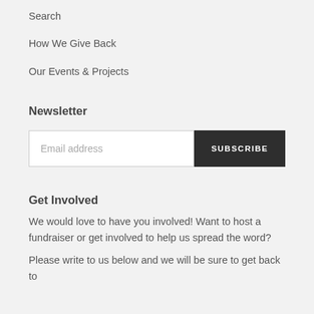Search
How We Give Back
Our Events & Projects
Newsletter
Email address
SUBSCRIBE
Get Involved
We would love to have you involved! Want to host a fundraiser or get involved to help us spread the word?
Please write to us below and we will be sure to get back to